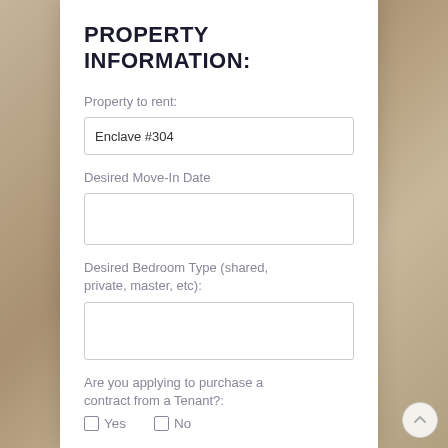PROPERTY INFORMATION:
Property to rent:
Enclave #304
Desired Move-In Date
Desired Bedroom Type (shared, private, master, etc):
Are you applying to purchase a contract from a Tenant?:
Yes
No